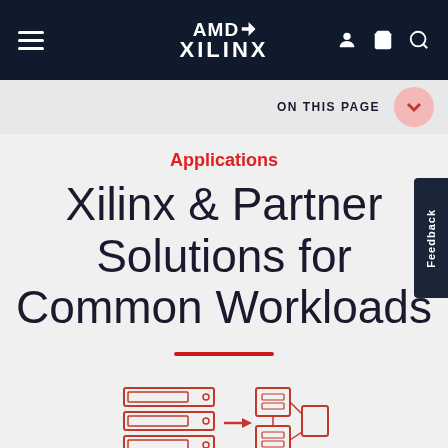AMD XILINX
ON THIS PAGE
Applications
Xilinx & Partner Solutions for Common Workloads
[Figure (illustration): Server/hardware block diagram illustration with red line art showing stacked server units and connected blocks]